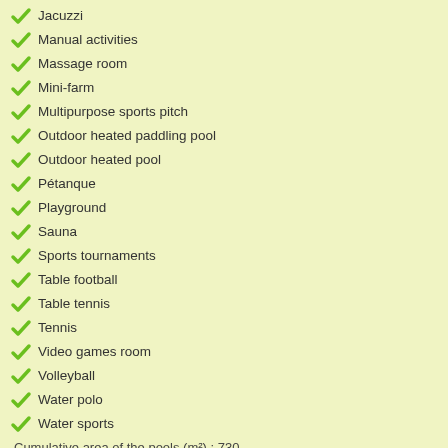Jacuzzi
Manual activities
Massage room
Mini-farm
Multipurpose sports pitch
Outdoor heated paddling pool
Outdoor heated pool
Pétanque
Playground
Sauna
Sports tournaments
Table football
Table tennis
Tennis
Video games room
Volleyball
Water polo
Water sports
Cumulative area of the pools (m²) : 730
Campsite's Directions
By car : De Paris, direction Le Mans, Angers A87, sortie La Roche sur Yon De N sur yon, prendre sortie La Tranche sur mer, direction Jard sur mer